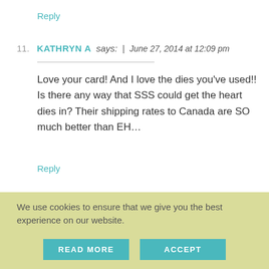Reply
11. KATHRYN A says: | June 27, 2014 at 12:09 pm
Love your card! And I love the dies you've used!! Is there any way that SSS could get the heart dies in? Their shipping rates to Canada are SO much better than EH…
Reply
We use cookies to ensure that we give you the best experience on our website.